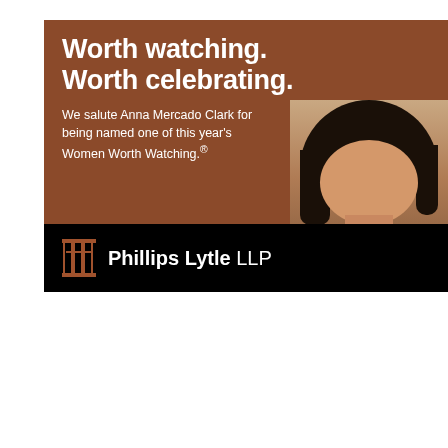[Figure (illustration): Phillips Lytle LLP advertisement featuring Anna Mercado Clark. Brown background with white bold headline 'Worth watching. Worth celebrating.' Body text salutes Anna Mercado Clark for being named one of this year's Women Worth Watching. Photo of a woman (Anna Mercado Clark) on the right. Black bar at bottom with Phillips Lytle LLP logo.]
[Figure (illustration): Profiles in Diversity Journal Q4 2021 Issue Now Available advertisement on grey background with the journal logo/banner at bottom showing 'PROFILES IN DIVERSITY JOURNAL' in black and gold.]